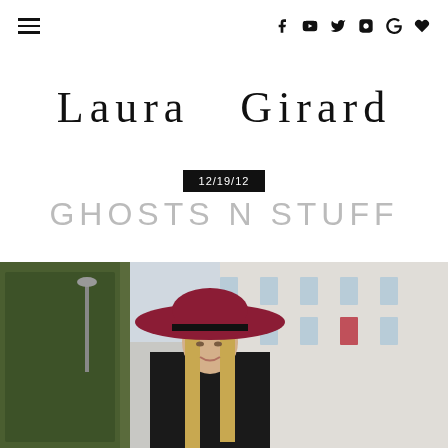Laura Girard blog header with navigation icons
Laura Girard
12/19/12
GHOSTS N STUFF
[Figure (photo): Woman wearing a wide-brimmed dark red/burgundy floppy hat with black band, long blonde hair, dark clothing, standing on a Parisian street with classic Haussmann buildings and green ivy in background]